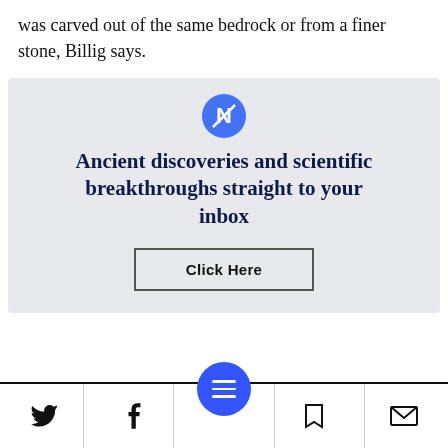was carved out of the same bedrock or from a finer stone, Billig says.
[Figure (infographic): Newsletter signup promo box with circular icon (letter N with slash), bold dark navy heading 'Ancient discoveries and scientific breakthroughs straight to your inbox', and a 'Click Here' button with border.]
Social sharing and navigation bar with Twitter, Facebook, menu (blue circle), bookmark, and mail icons.